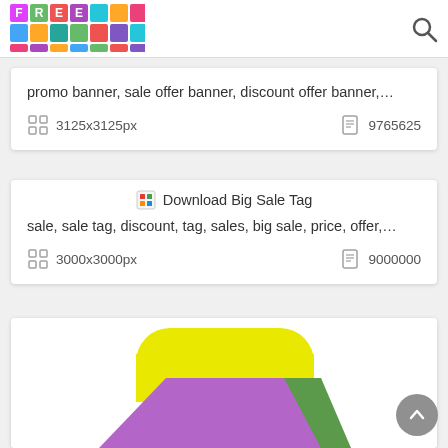FREE (logo with colorful tiles) + search icon
promo banner, sale offer banner, discount offer banner,…
3125x3125px   9765625
[Figure (illustration): Download Big Sale Tag icon/image placeholder]
sale, sale tag, discount, tag, sales, big sale, price, offer,…
3000x3000px   9000000
[Figure (illustration): Partial image of a yellow and purple sale tag graphic]